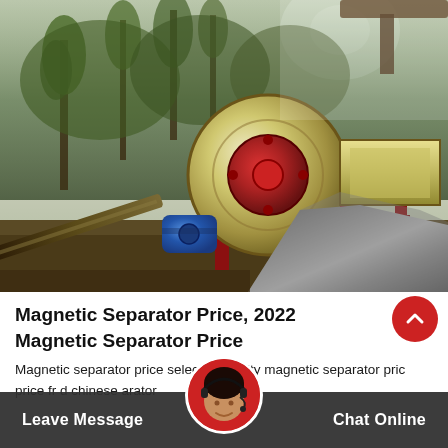[Figure (photo): Outdoor industrial magnetic separator / crusher machine installation with large yellow/cream drum, red frame structure, blue electric motor, conveyor belt, and a gravel pile in the background. Trees visible in background under a bright sky.]
Magnetic Separator Price, 2022 Magnetic Separator Price
Magnetic separator price selec high quality magnetic separator pric price fro ed chines arator d ins for ced
Leave Message   Chat Online